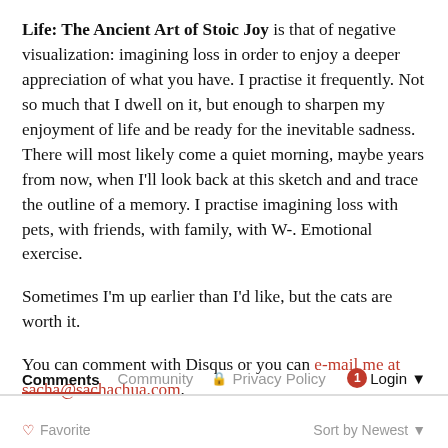Life: The Ancient Art of Stoic Joy is that of negative visualization: imagining loss in order to enjoy a deeper appreciation of what you have. I practise it frequently. Not so much that I dwell on it, but enough to sharpen my enjoyment of life and be ready for the inevitable sadness. There will most likely come a quiet morning, maybe years from now, when I'll look back at this sketch and and trace the outline of a memory. I practise imagining loss with pets, with friends, with family, with W-. Emotional exercise.
Sometimes I'm up earlier than I'd like, but the cats are worth it.
You can comment with Disqus or you can e-mail me at sacha@sachachua.com.
Comments  Community  Privacy Policy  1  Login  ♡ Favorite  Sort by Newest